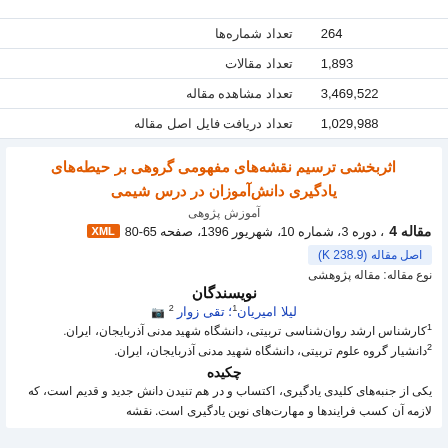| label | value |
| --- | --- |
| تعداد شماره‌ها | 264 |
| تعداد مقالات | 1,893 |
| تعداد مشاهده مقاله | 3,469,522 |
| تعداد دریافت فایل اصل مقاله | 1,029,988 |
اثربخشی ترسیم نقشه‌های مفهومی گروهی بر حیطه‌های یادگیری دانش‌آموزان در درس شیمی
آموزش پژوهی
مقاله 4، دوره 3، شماره 10، شهریور 1396، صفحه 65-80 XML
اصل مقاله (K 238.9)
نوع مقاله: مقاله پژوهشی
نویسندگان
لیلا امیریان1؛ تقی زوار 2
1کارشناس ارشد روان‌شناسی تربیتی، دانشگاه شهید مدنی آذربایجان، ایران.
2دانشیار گروه علوم تربیتی، دانشگاه شهید مدنی آذربایجان، ایران.
چکیده
یکی از جنبه‌های کلیدی یادگیری، اکتساب و در هم تنیدن دانش جدید و قدیم است، که لازمه آن کسب فرایندها و مهارت‌های نوین یادگیری است. نقشه